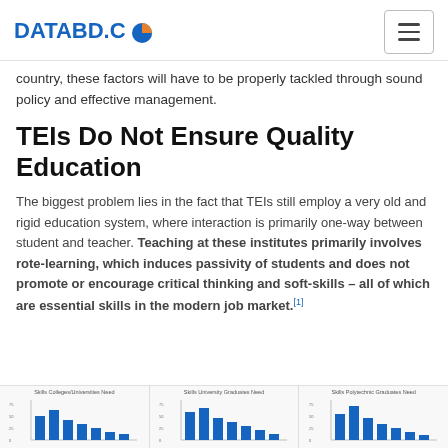DATABD.CO
country, these factors will have to be properly tackled through sound policy and effective management.
TEIs Do Not Ensure Quality Education
The biggest problem lies in the fact that TEIs still employ a very old and rigid education system, where interaction is primarily one-way between student and teacher. Teaching at these institutes primarily involves rote-learning, which induces passivity of students and does not promote or encourage critical thinking and soft-skills – all of which are essential skills in the modern job market.[1]
[Figure (bar-chart): Skills colleges/universities need - small bar chart thumbnail]
[Figure (bar-chart): Skills university graduates need - small bar chart thumbnail]
[Figure (bar-chart): Skills polytechnic graduates need - small bar chart thumbnail]